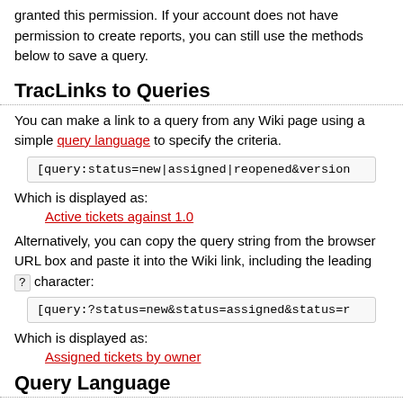granted this permission. If your account does not have permission to create reports, you can still use the methods below to save a query.
TracLinks to Queries
You can make a link to a query from any Wiki page using a simple query language to specify the criteria.
[query:status=new|assigned|reopened&version
Which is displayed as:
Active tickets against 1.0
Alternatively, you can copy the query string from the browser URL box and paste it into the Wiki link, including the leading ? character:
[query:?status=new&status=assigned&status=r
Which is displayed as:
Assigned tickets by owner
Query Language
The query: TracLinks and the [[TicketQuery]] macro both use a mini "query language" for specifying query filters. Filters are separated by ampersands ( & ). Each filter consists of the ticket